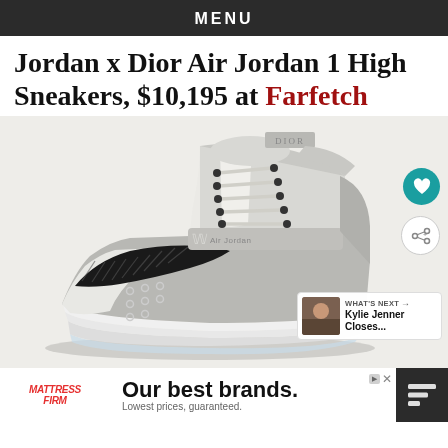MENU
Jordan x Dior Air Jordan 1 High Sneakers, $10,195 at Farfetch
[Figure (photo): Jordan x Dior Air Jordan 1 High Sneaker in grey and white colorway with Dior oblique pattern on the Nike swoosh, shot on a white/light grey background. A teal heart/favorite button and a share button are visible on the right side. A 'WHAT'S NEXT' panel in bottom right shows a thumbnail and text 'Kylie Jenner Closes...']
[Figure (other): Advertisement bar: Mattress Firm logo on left, 'Our best brands. Lowest prices, guaranteed.' text in center, dark panel on right with three horizontal stripes logo.]